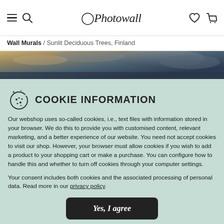Photowall — navigation bar with hamburger menu, search, logo, wishlist, and cart icons
Wall Murals / Sunlit Deciduous Trees, Finland
[Figure (photo): Partial hero image strip showing sky with clouds, blue and warm tones — cropped at top of cookie banner]
COOKIE INFORMATION
Our webshop uses so-called cookies, i.e., text files with information stored in your browser. We do this to provide you with customised content, relevant marketing, and a better experience of our website. You need not accept cookies to visit our shop. However, your browser must allow cookies if you wish to add a product to your shopping cart or make a purchase. You can configure how to handle this and whether to turn off cookies through your computer settings.
Your consent includes both cookies and the associated processing of personal data. Read more in our privacy policy.
Yes, I agree